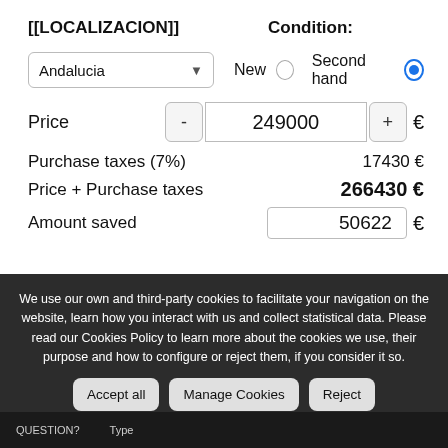[[LOCALIZACION]]
Condition:
Andalucia
New
Second hand
Price
249000
Purchase taxes (7%)   17430 €
Price + Purchase taxes   266430 €
Amount saved   50622 €
We use our own and third-party cookies to facilitate your navigation on the website, learn how you interact with us and collect statistical data. Please read our Cookies Policy to learn more about the cookies we use, their purpose and how to configure or reject them, if you consider it so.
Accept all
Manage Cookies
Reject